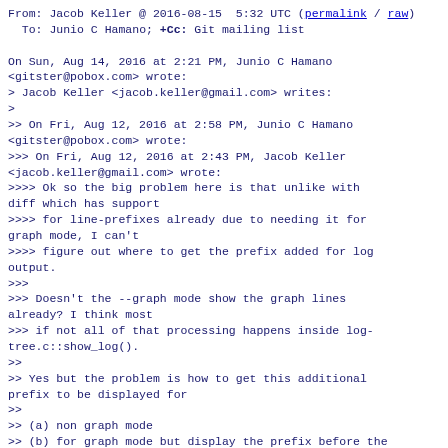From: Jacob Keller @ 2016-08-15  5:32 UTC (permalink / raw)
  To: Junio C Hamano; +Cc: Git mailing list
On Sun, Aug 14, 2016 at 2:21 PM, Junio C Hamano
<gitster@pobox.com> wrote:
> Jacob Keller <jacob.keller@gmail.com> writes:
>
>> On Fri, Aug 12, 2016 at 2:58 PM, Junio C Hamano
<gitster@pobox.com> wrote:
>>> On Fri, Aug 12, 2016 at 2:43 PM, Jacob Keller
<jacob.keller@gmail.com> wrote:
>>>> Ok so the big problem here is that unlike with diff which has support
>>>> for line-prefixes already due to needing it for graph mode, I can't
>>>> figure out where to get the prefix added for log output.
>>>
>>> Doesn't the --graph mode show the graph lines already? I think most
>>> if not all of that processing happens inside log-tree.c::show_log().
>>
>> Yes but the problem is how to get this additional prefix to be displayed for
>>
>> (a) non graph mode
>> (b) for graph mode but display the prefix before the graph prefix